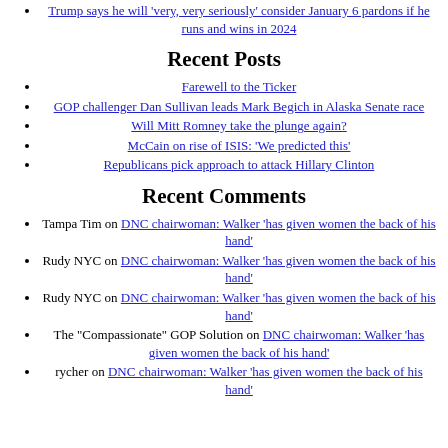Trump says he will 'very, very seriously' consider January 6 pardons if he runs and wins in 2024
Recent Posts
Farewell to the Ticker
GOP challenger Dan Sullivan leads Mark Begich in Alaska Senate race
Will Mitt Romney take the plunge again?
McCain on rise of ISIS: 'We predicted this'
Republicans pick approach to attack Hillary Clinton
Recent Comments
Tampa Tim on DNC chairwoman: Walker 'has given women the back of his hand'
Rudy NYC on DNC chairwoman: Walker 'has given women the back of his hand'
Rudy NYC on DNC chairwoman: Walker 'has given women the back of his hand'
The "Compassionate" GOP Solution on DNC chairwoman: Walker 'has given women the back of his hand'
rycher on DNC chairwoman: Walker 'has given women the back of his hand'